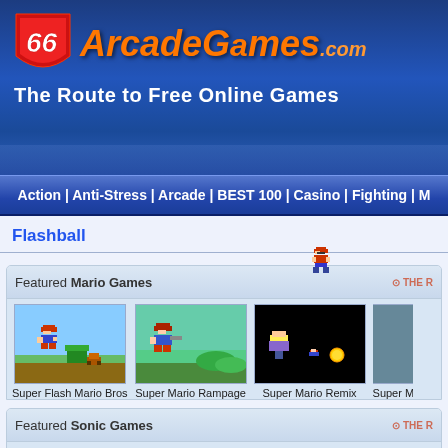66 ArcadeGames.com - The Route to Free Online Games
Action | Anti-Stress | Arcade | BEST 100 | Casino | Fighting | M…
Flashball
Featured Mario Games
Super Flash Mario Bros
Super Mario Rampage
Super Mario Remix
Super Mario R…
Featured Sonic Games
Sonic The Hedgehog
Sonic In Angel Island
Ultimate Sonic Quiz
Son…